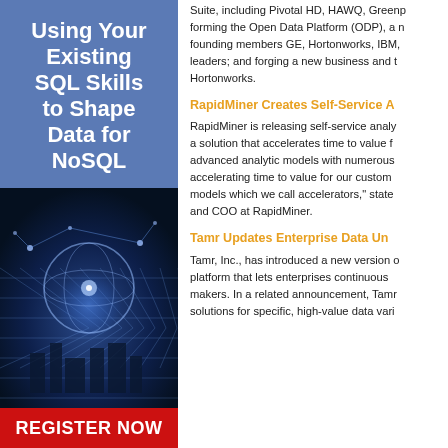Using Your Existing SQL Skills to Shape Data for NoSQL
[Figure (illustration): Dark blue network/data visualization background with glowing grid lines and spherical shapes, representing big data or NoSQL technology]
REGISTER NOW
Suite, including Pivotal HD, HAWQ, Greenp- forming the Open Data Platform (ODP), a n- founding members GE, Hortonworks, IBM, leaders; and forging a new business and t- Hortonworks.
RapidMiner Creates Self-Service A
RapidMiner is releasing self-service analy- a solution that accelerates time to value f- advanced analytic models with numerous accelerating time to value for our custom- models which we call accelerators,” state and COO at RapidMiner.
Tamr Updates Enterprise Data Un
Tamr, Inc., has introduced a new version o- platform that lets enterprises continuous- makers. In a related announcement, Tamr solutions for specific, high-value data vari-